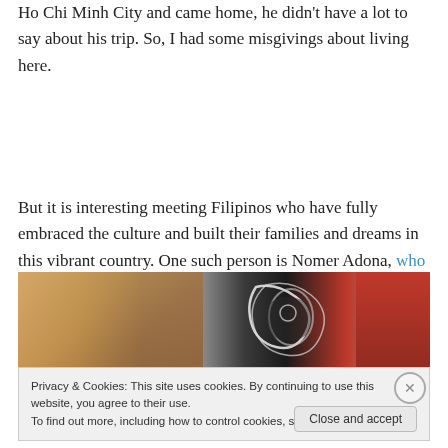Ho Chi Minh City and came home, he didn't have a lot to say about his trip. So, I had some misgivings about living here.
But it is interesting meeting Filipinos who have fully embraced the culture and built their families and dreams in this vibrant country. One such person is Nomer Adona, who I first met in 2012 when I was still moonlighting for Word HCMC.
[Figure (photo): A close-up photo strip showing faces and colorful clothing/fabric with graphic designs, partially visible]
Privacy & Cookies: This site uses cookies. By continuing to use this website, you agree to their use. To find out more, including how to control cookies, see here: Cookie Policy
Close and accept